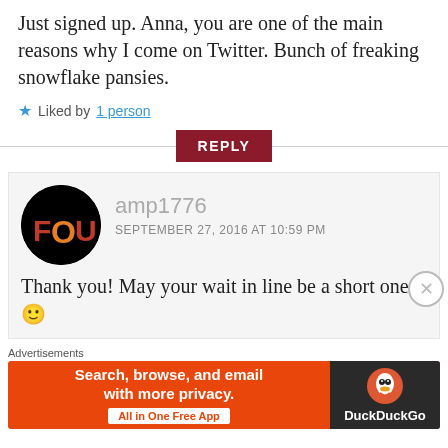Just signed up. Anna, you are one of the main reasons why I come on Twitter. Bunch of freaking snowflake pansies.
★ Liked by 1 person
REPLY
[Figure (illustration): Round avatar with black background and stylized letters 'FOU' in red-orange gradient]
amp1776
SEPTEMBER 27, 2016 AT 10:59 PM
Thank you! May your wait in line be a short one! 🙂
Advertisements
[Figure (screenshot): DuckDuckGo advertisement banner: 'Search, browse, and email with more privacy. All in One Free App' with DuckDuckGo logo on dark background]